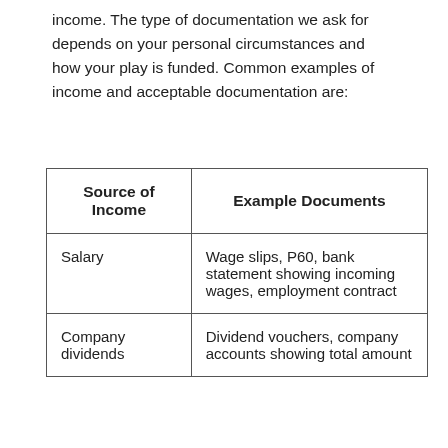income. The type of documentation we ask for depends on your personal circumstances and how your play is funded. Common examples of income and acceptable documentation are:
| Source of Income | Example Documents |
| --- | --- |
| Salary | Wage slips, P60, bank statement showing incoming wages, employment contract |
| Company dividends | Dividend vouchers, company accounts showing total amount |